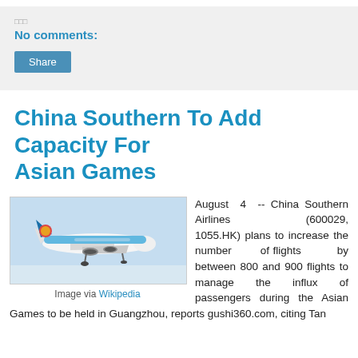No comments:
Share
China Southern To Add Capacity For Asian Games
[Figure (photo): China Southern Airlines Boeing 747 aircraft in flight against a gray-blue sky]
Image via Wikipedia
August 4 -- China Southern Airlines (600029, 1055.HK) plans to increase the number of flights by between 800 and 900 flights to manage the influx of passengers during the Asian Games to be held in Guangzhou, reports gushi360.com, citing Tan